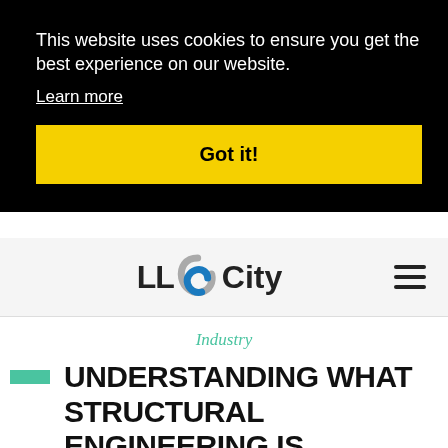This website uses cookies to ensure you get the best experience on our website.
Learn more
Got it!
[Figure (logo): LL City logo with swirl icon in blue and gray]
Industry
UNDERSTANDING WHAT STRUCTURAL ENGINEERING IS